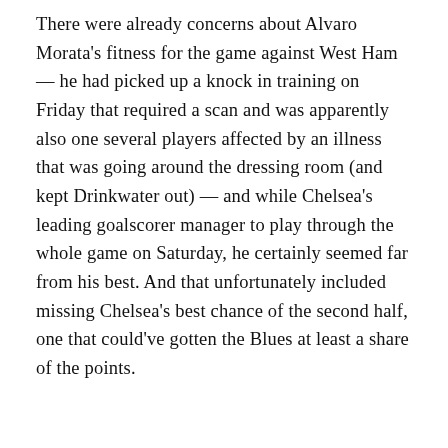There were already concerns about Alvaro Morata's fitness for the game against West Ham — he had picked up a knock in training on Friday that required a scan and was apparently also one several players affected by an illness that was going around the dressing room (and kept Drinkwater out) — and while Chelsea's leading goalscorer manager to play through the whole game on Saturday, he certainly seemed far from his best. And that unfortunately included missing Chelsea's best chance of the second half, one that could've gotten the Blues at least a share of the points.